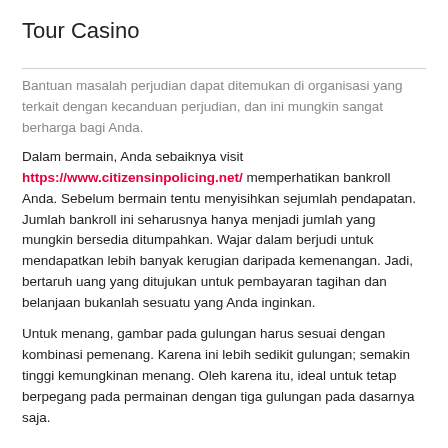Tour Casino
Bantuan masalah perjudian dapat ditemukan di organisasi yang terkait dengan kecanduan perjudian, dan ini mungkin sangat berharga bagi Anda.
Dalam bermain, Anda sebaiknya visit https://www.citizensinpolicing.net/ memperhatikan bankroll Anda. Sebelum bermain tentu menyisihkan sejumlah pendapatan. Jumlah bankroll ini seharusnya hanya menjadi jumlah yang mungkin bersedia ditumpahkan. Wajar dalam berjudi untuk mendapatkan lebih banyak kerugian daripada kemenangan. Jadi, bertaruh uang yang ditujukan untuk pembayaran tagihan dan belanjaan bukanlah sesuatu yang Anda inginkan.
Untuk menang, gambar pada gulungan harus sesuai dengan kombinasi pemenang. Karena ini lebih sedikit gulungan; semakin tinggi kemungkinan menang. Oleh karena itu, ideal untuk tetap berpegang pada permainan dengan tiga gulungan pada dasarnya saja.